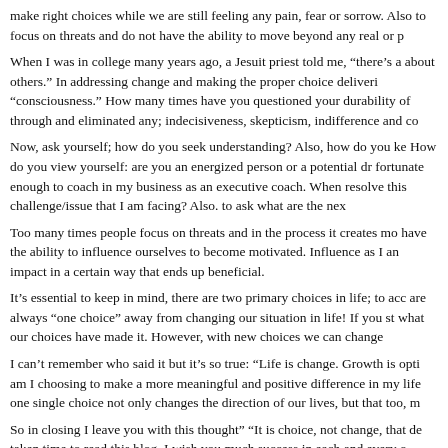make right choices while we are still feeling any pain, fear or sorrow. Also to focus on threats and do not have the ability to move beyond any real or p
When I was in college many years ago, a Jesuit priest told me, “there’s a about others.” In addressing change and making the proper choice deliveri “consciousness.” How many times have you questioned your durability of through and eliminated any; indecisiveness, skepticism, indifference and co
Now, ask yourself; how do you seek understanding? Also, how do you ke How do you view yourself: are you an energized person or a potential dr fortunate enough to coach in my business as an executive coach. When resolve this challenge/issue that I am facing? Also. to ask what are the nex
Too many times people focus on threats and in the process it creates mo have the ability to influence ourselves to become motivated. Influence as I an impact in a certain way that ends up beneficial.
It’s essential to keep in mind, there are two primary choices in life; to acc are always “one choice” away from changing our situation in life! If you st what our choices have made it. However, with new choices we can change
I can’t remember who said it but it’s so true: “Life is change. Growth is opti am I choosing to make a more meaningful and positive difference in my life one single choice not only changes the direction of our lives, but that too, m
So in closing I leave you with this thought” “It is choice, not change, that de taken time to read this blog. I wish you much success in each and every o
Posted in
Comments are closed.